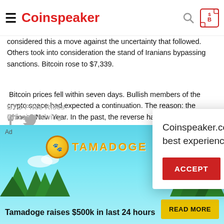Coinspeaker
considered this a move against the uncertainty that followed. Others took into consideration the stand of Iranians bypassing sanctions. Bitcoin rose to $7,339.
Bitcoin prices fell within seven days. Bullish members of the crypto space had expected a continuation. The reason: the Chinese New Year. In the past, the reverse had occurred though. Cryptocurrency markets have been under the giving tradition of H across the board. Th the coronavirus eme
BTC Price Rises Bitcoin Halving
Coinspeaker.com uses cookies to ensure the best experience for you
ACCEPT    GO TO PRIVACY POLICY
[Figure (screenshot): Tamadoge advertisement banner with logo, dog mascot, trees background, tagline 'Tamadoge raises $500k in last 24 hours' and READ MORE button]